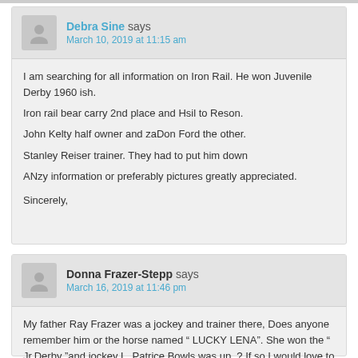Debra Sine says
March 10, 2019 at 11:15 am
I am searching for all information on Iron Rail. He won Juvenile Derby 1960 ish.
Iron rail bear carry 2nd place and Hsil to Reson.
John Kelty half owner and zaDon Ford the other.
Stanley Reiser trainer. They had to put him down
ANzy information or preferably pictures greatly appreciated.

Sincerely,
Donna Frazer-Stepp says
March 16, 2019 at 11:46 pm
My father Ray Frazer was a jockey and trainer there, Does anyone remember him or the horse named “ LUCKY LENA”. She won the “ Jr.Derby ”and jockey L. Patrice Bowls was up. ? If so I would love to hear from you.